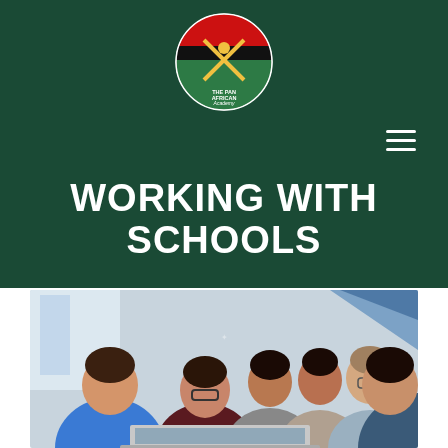[Figure (logo): The Pan African Academy circular logo with red, black, and green sections with crossed symbols]
WORKING WITH SCHOOLS
[Figure (photo): Group of diverse young people smiling and celebrating around a laptop screen in a bright office or school setting]